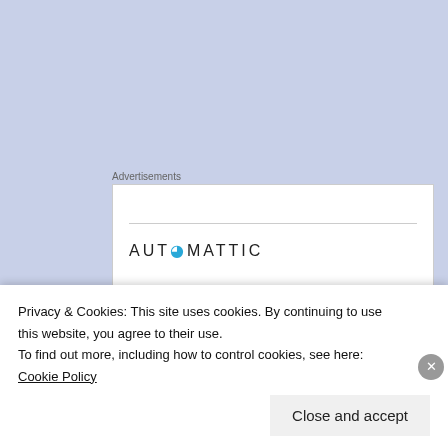Advertisements
[Figure (screenshot): Automattic advertisement banner reading 'Build a better web and a better world']
Now while some of his directorial flourishes go a bit mawkish, Lasse Hallstrom at least invests An Unfinished Life with a moving centre, offset by the
Privacy & Cookies: This site uses cookies. By continuing to use this website, you agree to their use.
To find out more, including how to control cookies, see here: Cookie Policy
Close and accept